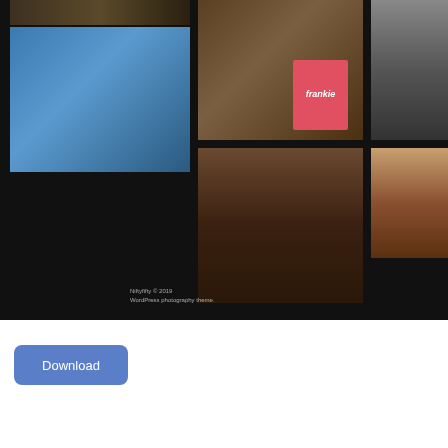[Figure (screenshot): Screenshot of a WordPress photography theme called Niftyfifty showing a dark-background photo grid with multiple portrait and still-life photos including a saxophone player, a 'frankie' magazine cover, a girl portrait, and black-and-white portraits. Footer text reads 'Niftyfifty © 2019 WordPress photography theme.']
[Figure (other): Blue rounded-rectangle Download button with white text reading 'Download']